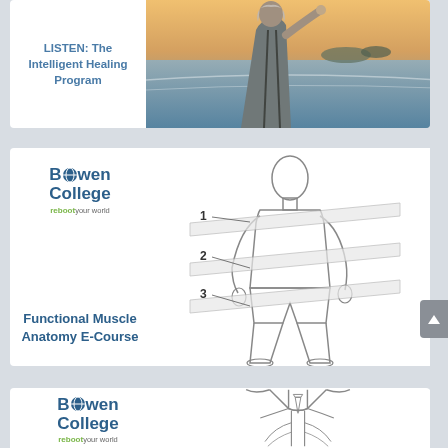[Figure (photo): Card with text 'LISTEN: The Intelligent Healing Program' on left and photo of older woman from behind looking out to sea on right]
[Figure (illustration): Card with Bowen College logo and 'Functional Muscle Anatomy E-Course' text on left, and anatomical line drawing of human figure with planes labeled 1, 2, 3 on right]
[Figure (illustration): Partial card at bottom showing Bowen College logo on left and anatomical line drawing of upper torso/chest on right]